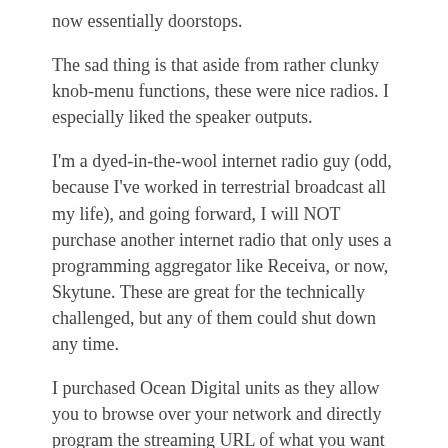now essentially doorstops.
The sad thing is that aside from rather clunky knob-menu functions, these were nice radios. I especially liked the speaker outputs.
I'm a dyed-in-the-wool internet radio guy (odd, because I've worked in terrestrial broadcast all my life), and going forward, I will NOT purchase another internet radio that only uses a programming aggregator like Receiva, or now, Skytune. These are great for the technically challenged, but any of them could shut down any time.
I purchased Ocean Digital units as they allow you to browse over your network and directly program the streaming URL of what you want to listen directly into the radio. It sold me, and I'm perfectly happy with the Ocean Digital WR800F units I purchased. Hopefully, now I'm future-proofed.....at my age I want devices that will run longer than I will!